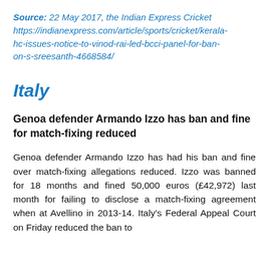Source: 22 May 2017, the Indian Express Cricket https://indianexpress.com/article/sports/cricket/kerala-hc-issues-notice-to-vinod-rai-led-bcci-panel-for-ban-on-s-sreesanth-4668584/
Italy
Genoa defender Armando Izzo has ban and fine for match-fixing reduced
Genoa defender Armando Izzo has had his ban and fine over match-fixing allegations reduced. Izzo was banned for 18 months and fined 50,000 euros (£42,972) last month for failing to disclose a match-fixing agreement when at Avellino in 2013-14. Italy's Federal Appeal Court on Friday reduced the ban to